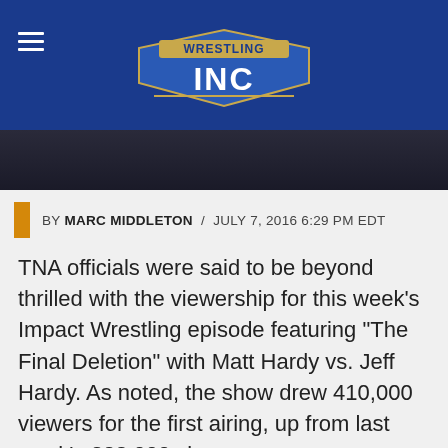Wrestling Inc
[Figure (screenshot): Dark hero image background with faint figure silhouette]
BY MARC MIDDLETON / JULY 7, 2016 6:29 PM EDT
TNA officials were said to be beyond thrilled with the viewership for this week's Impact Wrestling episode featuring "The Final Deletion" with Matt Hardy vs. Jeff Hardy. As noted, the show drew 410,000 viewers for the first airing, up from last week's 322,000 viewers.
Regarding the much-talked about segment, it was done because Dixie Carter wanted there to be fresh content that would be spoiler-free on Impact